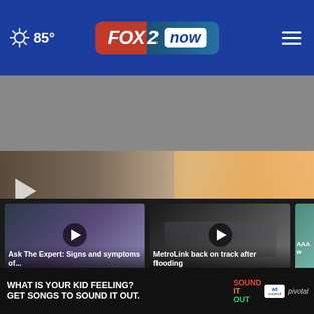[Figure (screenshot): FOX2NOW news website header with weather showing 85°, FOX 2 now logo in center, hamburger menu on right, on blue background]
[Figure (screenshot): Video banner showing Ask The Expert segment about SSM Health mental health. Text: FOX2NOW.COM, MORE ON SSM HEALTH, www.ssmhealth.com/mental-health]
[Figure (screenshot): Video thumbnail: Ask The Expert: Signs and symptoms of... - 51 mins ago]
[Figure (screenshot): Video thumbnail: MetroLink back on track after flooding - 4 hours ago]
[Figure (screenshot): Partial video thumbnail: AAA w... slow d...]
More Videos →
[Figure (screenshot): Advertisement banner: WHAT IS YOUR KID FEELING? GET SONGS TO SOUND IT OUT. Sound It Out, Ad Council, pivotal]